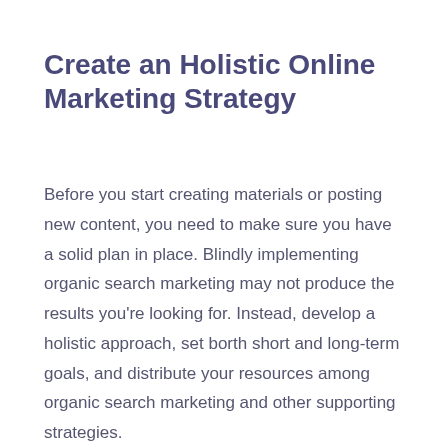Create an Holistic Online Marketing Strategy
Before you start creating materials or posting new content, you need to make sure you have a solid plan in place. Blindly implementing organic search marketing may not produce the results you're looking for. Instead, develop a holistic approach, set borth short and long-term goals, and distribute your resources among organic search marketing and other supporting strategies.